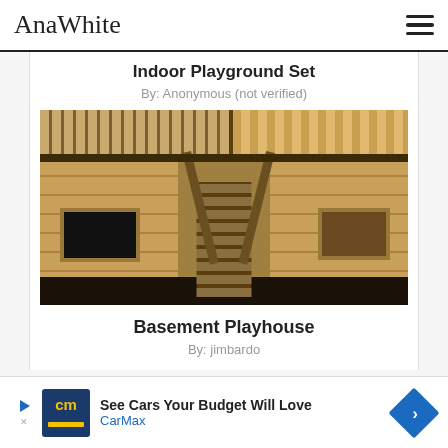AnaWhite
Indoor Playground Set
By: Anonymous (not verified)
[Figure (photo): Indoor wooden basement playhouse with loft area, wooden railings, windows cut out of plywood walls, and a central staircase connecting lower and upper levels.]
Basement Playhouse
By: jimbardo
See Cars Your Budget Will Love
CarMax